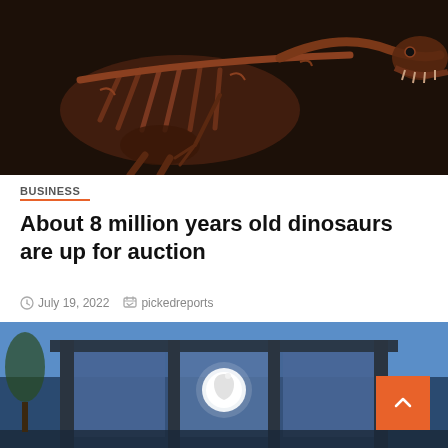[Figure (photo): Dinosaur skeleton fossil with rust/brown bones against a dark background, showing ribcage and skull with open jaw]
BUSINESS
About 8 million years old dinosaurs are up for auction
July 19, 2022   pickedreports
[Figure (photo): Apple Store exterior with glass facade, Apple logo lit up, blue sky background, with a '2 min read' badge overlay]